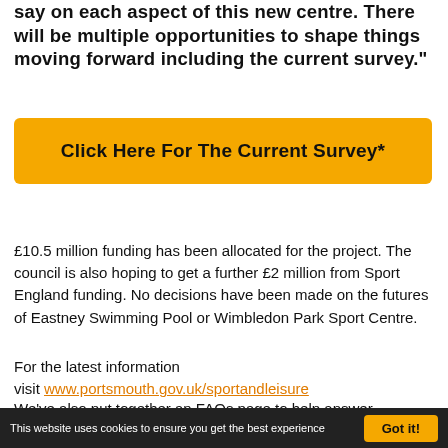say on each aspect of this new centre. There will be multiple opportunities to shape things moving forward including the current survey."
Click Here For The Current Survey*
£10.5 million funding has been allocated for the project. The council is also hoping to get a further £2 million from Sport England funding. No decisions have been made on the futures of Eastney Swimming Pool or Wimbledon Park Sport Centre.
For the latest information visit www.portsmouth.gov.uk/sportandleisure
We've also put together an FAQs page to help answer people's questions about this exciting new
This website uses cookies to ensure you get the best experience   Got it!